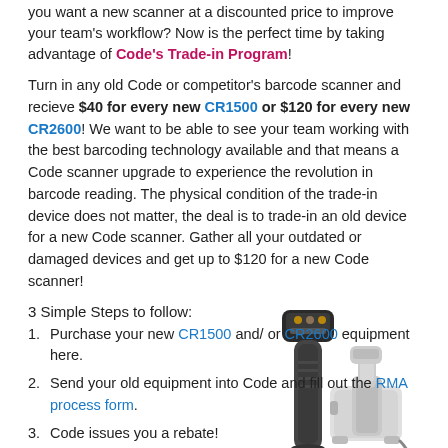you want a new scanner at a discounted price to improve your team's workflow? Now is the perfect time by taking advantage of Code's Trade-in Program!
Turn in any old Code or competitor's barcode scanner and recieve $40 for every new CR1500 or $120 for every new CR2600! We want to be able to see your team working with the best barcoding technology available and that means a Code scanner upgrade to experience the revolution in barcode reading. The physical condition of the trade-in device does not matter, the deal is to trade-in an old device for a new Code scanner. Gather all your outdated or damaged devices and get up to $120 for a new Code scanner!
3 Simple Steps to follow:
Purchase your new CR1500 and/ or CR2600 equipment here.
Send your old equipment into Code and fill out the RMA process form.
Code issues you a rebate!
[Figure (photo): Black handheld barcode scanner (CR1500 style) and white cradle/docking station (CR2600 style)]
Complete the rebate form if you want to participate in the rebate program. Therefore, Code can ensure to match up your incoming shipment of trade-ins